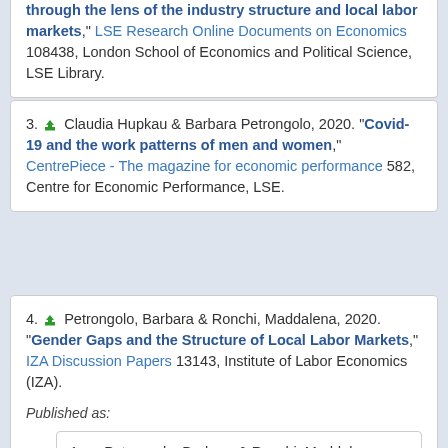through the lens of the industry structure and local labor markets," LSE Research Online Documents on Economics 108438, London School of Economics and Political Science, LSE Library.
3. [download icon] Claudia Hupkau & Barbara Petrongolo, 2020. "Covid-19 and the work patterns of men and women," CentrePiece - The magazine for economic performance 582, Centre for Economic Performance, LSE.
4. [download icon] Petrongolo, Barbara & Ronchi, Maddalena, 2020. "Gender Gaps and the Structure of Local Labor Markets," IZA Discussion Papers 13143, Institute of Labor Economics (IZA).
Published as:
1. [download icon] Petrongolo, Barbara & Ronchi, Maddalena, 2020. "Gender gaps and the